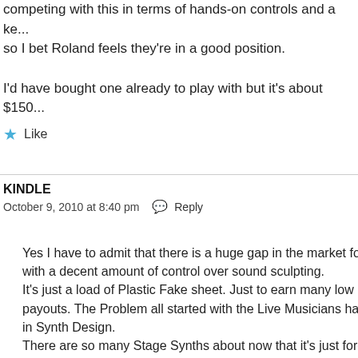competing with this in terms of hands-on controls and a ke... so I bet Roland feels they're in a good position.
I'd have bought one already to play with but it's about $150...
Like
KINDLE
October 9, 2010 at 8:40 pm   Reply
Yes I have to admit that there is a huge gap in the market fo... with a decent amount of control over sound sculpting. It's just a load of Plastic Fake sheet. Just to earn many low p... payouts. The Problem all started with the Live Musicians ha... in Synth Design. There are so many Stage Synths about now that it's just forc... new Model every Damn year. And they Suck! Yep! They do eit... do very Little Very well. And thats just Wack! Then there's the Workstation Synth with the Fatal Floor Like... Section in the Software or the Sequencer is Laggy, or Load t...